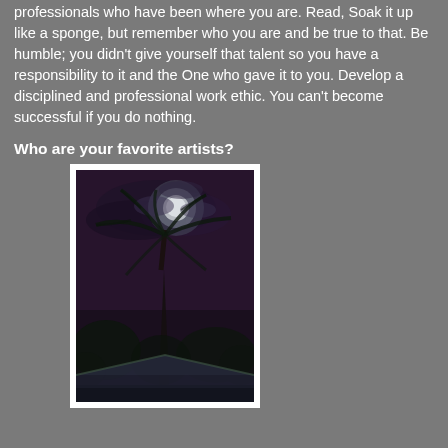professionals who have been where you are. Read, Soak it up like a sponge, but remember who you are and be true to that. Be humble; you didn't give yourself that talent so you have a responsibility to it and the One who gave it to you. Develop a disciplined and professional work ethic. You can't become successful if you do nothing.
Who are your favorite artists?
[Figure (photo): A dark atmospheric painting of a moonlit night scene with a full moon glowing through clouds above a large palm tree, with a rooftop or building structure visible at the bottom.]